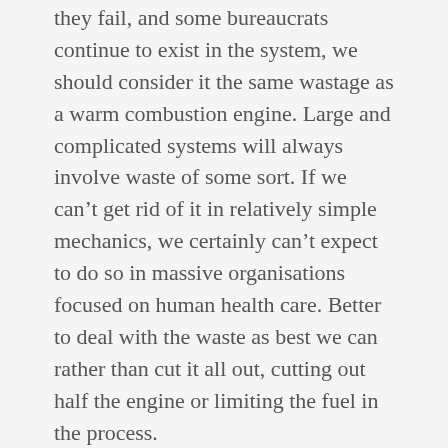they fail, and some bureaucrats continue to exist in the system, we should consider it the same wastage as a warm combustion engine. Large and complicated systems will always involve waste of some sort. If we can't get rid of it in relatively simple mechanics, we certainly can't expect to do so in massive organisations focused on human health care. Better to deal with the waste as best we can rather than cut it all out, cutting out half the engine or limiting the fuel in the process.
Yet, arguably, health care is not the biggest instance of ‘back of the sofa’ thinking. I think the welfare state is.
Every week, seemingly without fail, a mainstream TV channel, or a national newspaper, decides it